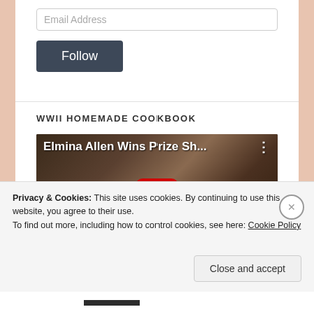Email Address
Follow
WWII HOMEMADE COOKBOOK
[Figure (screenshot): YouTube video thumbnail showing hands holding open a dark-covered notebook/cookbook. Video title reads 'Elmina Allen Wins Prize Sh...' with a YouTube play button overlay.]
Privacy & Cookies: This site uses cookies. By continuing to use this website, you agree to their use.
To find out more, including how to control cookies, see here: Cookie Policy
Close and accept